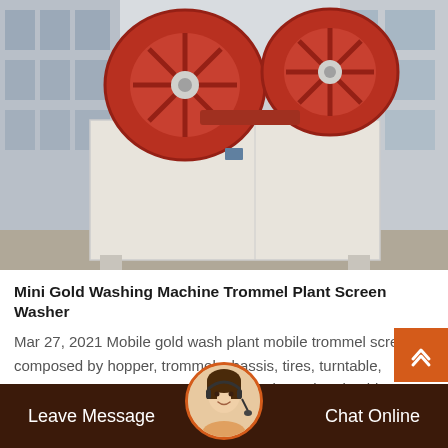[Figure (photo): Large industrial sand washing machine with red wheel/drum mechanism on top and white rectangular body, photographed outdoors with a modern building in the background.]
Mini Gold Washing Machine Trommel Plant Screen Washer
Mar 27, 2021 Mobile gold wash plant mobile trommel screen is composed by hopper, trommel, chassis, tires, turntable, generator, water pump, gearing, control panel and gold recovery sluice. The mobile trommel screen is a optimized removable platform fo...
Leave Message   Chat Online